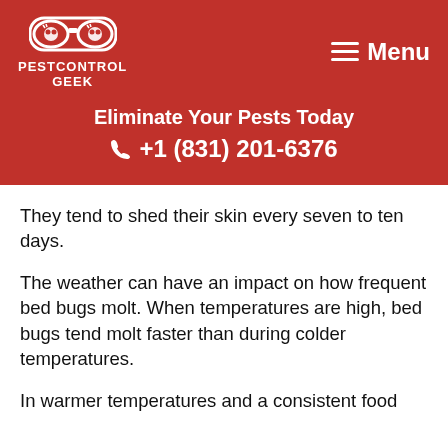[Figure (logo): PestControl Geek logo with glasses icon and text PESTCONTROL GEEK in white on red background]
☰  Menu
Eliminate Your Pests Today
📞 +1 (831) 201-6376
They tend to shed their skin every seven to ten days.
The weather can have an impact on how frequent bed bugs molt. When temperatures are high, bed bugs tend molt faster than during colder temperatures.
In warmer temperatures and a consistent food